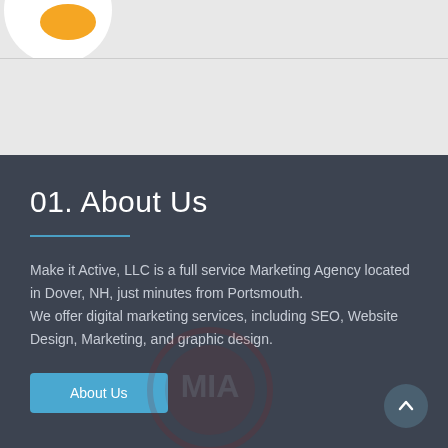[Figure (logo): Partial logo visible at top left — circular emblem with orange and white colors, partially cropped]
01. About Us
Make it Active, LLC is a full service Marketing Agency located in Dover, NH, just minutes from Portsmouth.
We offer digital marketing services, including SEO, Website Design, Marketing, and graphic design.
[Figure (logo): Watermark logo — circular emblem in dark red/maroon, semi-transparent, centered in the dark section]